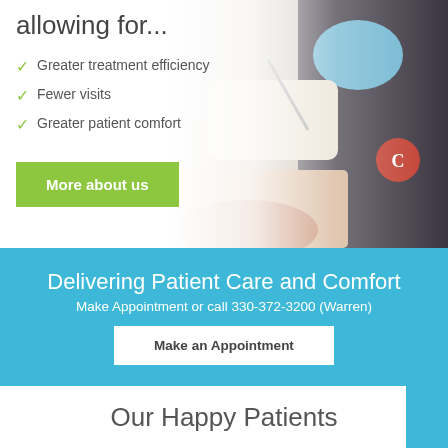allowing for...
Greater treatment efficiency
Fewer visits
Greater patient comfort
[Figure (photo): Dental professional in scrubs and mask performing a dental procedure on a patient]
More about us
Delivering Patient Care and Comfort
Make Appointment or call 330-372-3200 (Warren)
Make an Appointment
Our Happy Patients